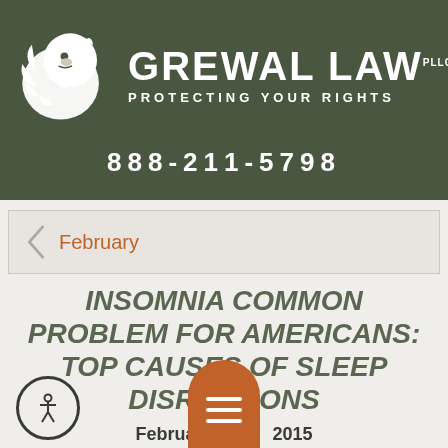[Figure (logo): Grewal Law PLLC logo with white lion head silhouette on dark olive green background, firm name and tagline 'Protecting Your Rights', phone number 888-211-5798]
February
INSOMNIA COMMON PROBLEM FOR AMERICANS: TOP CAUSES OF SLEEP DISRUPTIONS
February 2015